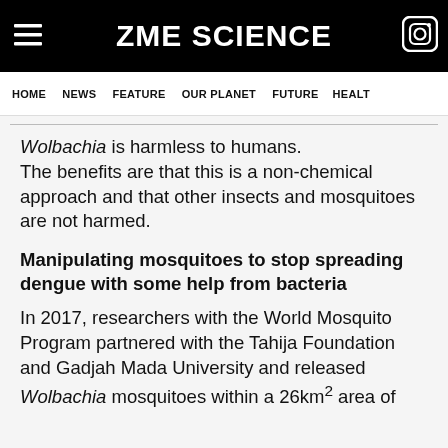ZME SCIENCE
HOME  NEWS  FEATURE  OUR PLANET  FUTURE  HEALT
Wolbachia is harmless to humans. The benefits are that this is a non-chemical approach and that other insects and mosquitoes are not harmed.
Manipulating mosquitoes to stop spreading dengue with some help from bacteria
In 2017, researchers with the World Mosquito Program partnered with the Tahija Foundation and Gadjah Mada University and released Wolbachia mosquitoes within a 26km² area of